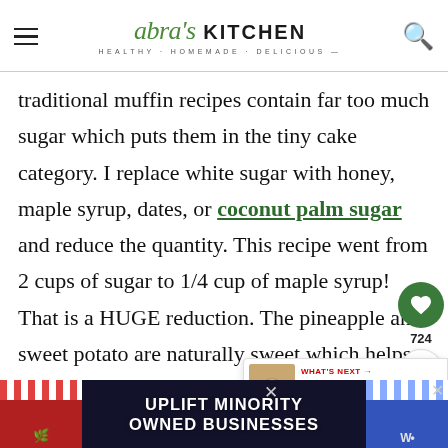Abra's Kitchen — Healthy · Homemade · Delicious
traditional muffin recipes contain far too much sugar which puts them in the tiny cake category. I replace white sugar with honey, maple syrup, dates, or coconut palm sugar and reduce the quantity. This recipe went from 2 cups of sugar to 1/4 cup of maple syrup! That is a HUGE reduction. The pineapple and sweet potato are naturally sweet which helps. You can also use real fruit like applesauce or blended pineapple (which this recipe) to increase sweetness without adding
[Figure (other): Advertisement banner: Uplift Minority Owned Businesses]
[Figure (other): What's Next overlay with Healthy Sloppy Joe... article thumbnail]
[Figure (other): Floating action buttons: heart/save (724) and share icons]